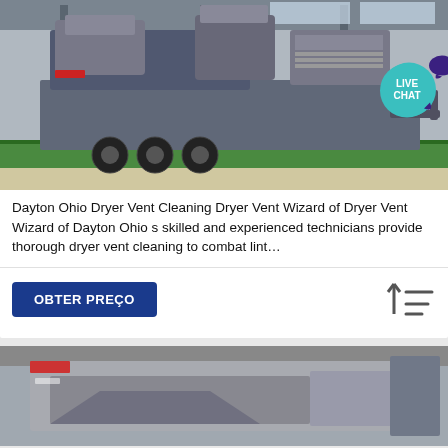[Figure (photo): Mobile crushing/screening machine on trailer in industrial warehouse with green floor. Live Chat badge visible in top-right corner of image.]
Dayton Ohio Dryer Vent Cleaning Dryer Vent Wizard of Dryer Vent Wizard of Dayton Ohio s skilled and experienced technicians provide thorough dryer vent cleaning to combat lint…
[Figure (photo): Grey metal industrial trough or feeder unit photographed in factory setting.]